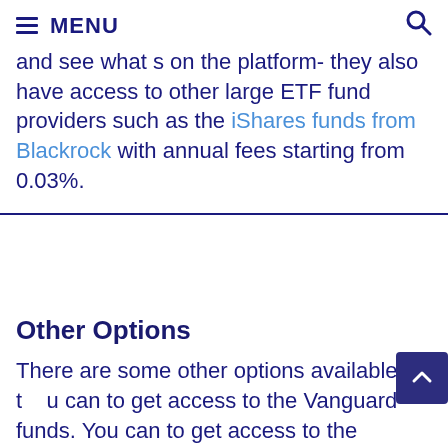MENU
and see what s on the platform- they also have access to other large ETF fund providers such as the iShares funds from Blackrock with annual fees starting from 0.03%.
Other Options
There are some other options available that you can to get access to the Vanguard funds. You can to access the following of the and